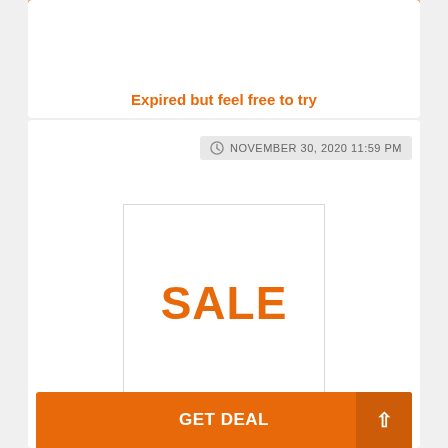Expired but feel free to try
NOVEMBER 30, 2020 11:59 PM
[Figure (illustration): A white square box with the word SALE in large orange bold text centered inside it]
Limited Edition: Cherry Blossom Fragrance
GET DEAL